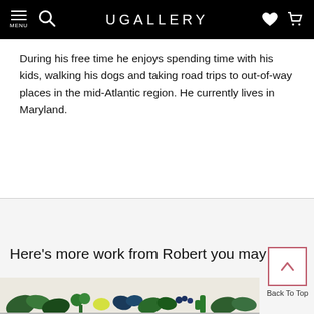UGALLERY
During his free time he enjoys spending time with his kids, walking his dogs and taking road trips to out-of-way places in the mid-Atlantic region. He currently lives in Maryland.
Here's more work from Robert you may enj…
[Figure (illustration): Botanical illustration strip showing vegetables and plants in greens and blues at the bottom of the page]
[Figure (other): Back To Top button with upward chevron inside a pink/mauve bordered square, with 'Back To Top' text below]